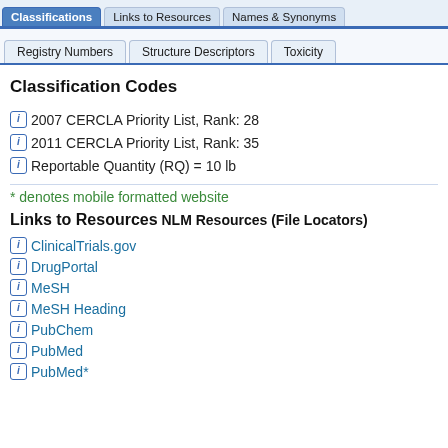Classifications | Links to Resources | Names & Synonyms
Registry Numbers | Structure Descriptors | Toxicity
Classification Codes
2007 CERCLA Priority List, Rank: 28
2011 CERCLA Priority List, Rank: 35
Reportable Quantity (RQ) = 10 lb
* denotes mobile formatted website
Links to Resources
NLM Resources (File Locators)
ClinicalTrials.gov
DrugPortal
MeSH
MeSH Heading
PubChem
PubMed
PubMed*